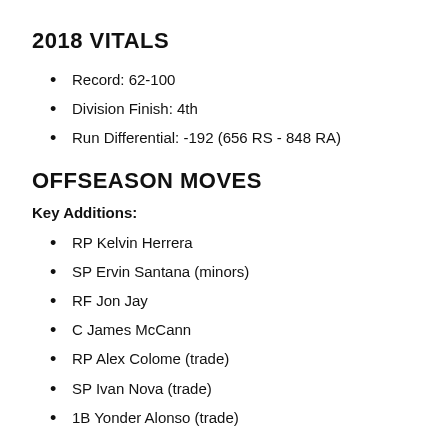2018 VITALS
Record: 62-100
Division Finish: 4th
Run Differential: -192 (656 RS - 848 RA)
OFFSEASON MOVES
Key Additions:
RP Kelvin Herrera
SP Ervin Santana (minors)
RF Jon Jay
C James McCann
RP Alex Colome (trade)
SP Ivan Nova (trade)
1B Yonder Alonso (trade)